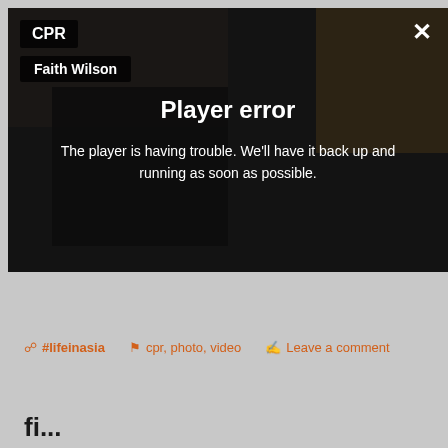[Figure (screenshot): Video player showing a person performing CPR on the floor. An error overlay is displayed with the message 'Player error' and 'The player is having trouble. We'll have it back up and running as soon as possible.' Labels 'CPR' and 'Faith Wilson' appear in the top left corner, and a close (X) button in the top right.]
#lifeinasia   cpr, photo, video   Leave a comment
fi...